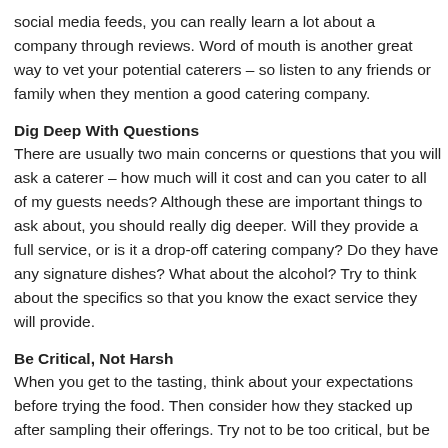social media feeds, you can really learn a lot about a company through reviews. Word of mouth is another great way to vet your potential caterers – so listen to any friends or family when they mention a good catering company.
Dig Deep With Questions
There are usually two main concerns or questions that you will ask a caterer – how much will it cost and can you cater to all of my guests needs? Although these are important things to ask about, you should really dig deeper. Will they provide a full service, or is it a drop-off catering company? Do they have any signature dishes? What about the alcohol? Try to think about the specifics so that you know the exact service they will provide.
Be Critical, Not Harsh
When you get to the tasting, think about your expectations before trying the food. Then consider how they stacked up after sampling their offerings. Try not to be too critical, but be honest about your expectations. If you are not fond of the wine or think the food is too